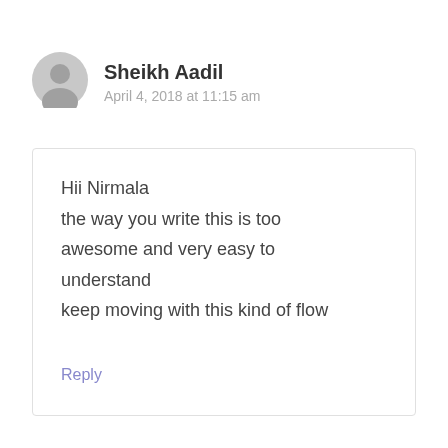[Figure (illustration): Grey circular avatar icon with silhouette of a person]
Sheikh Aadil
April 4, 2018 at 11:15 am
Hii Nirmala
the way you write this is too awesome and very easy to understand
keep moving with this kind of flow
Reply